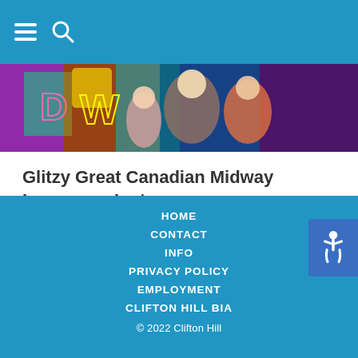Navigation bar with hamburger menu and search icon
[Figure (photo): Colorful neon arcade signage with family group in foreground at Great Canadian Midway]
Glitzy Great Canadian Midway Images on Instagram
1 week ago
HOME
CONTACT
INFO
PRIVACY POLICY
EMPLOYMENT
CLIFTON HILL BIA
© 2022 Clifton Hill